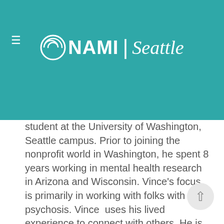NAMI Seattle
student at the University of Washington, Seattle campus. Prior to joining the nonprofit world in Washington, he spent 8 years working in mental health research in Arizona and Wisconsin. Vince's focus is primarily in working with folks with psychosis. Vince  uses his lived experience to connect with others. He is a NAMI Seattle volunteer and co-facilitates two Connection Recovery Support groups including the LGBTQ+ group. In his free time, Vince likes to make art, chat with friends, and hang out with his cat named Roger. Vince is excited to get more